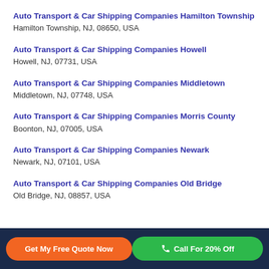Auto Transport & Car Shipping Companies Hamilton Township
Hamilton Township, NJ, 08650, USA
Auto Transport & Car Shipping Companies Howell
Howell, NJ, 07731, USA
Auto Transport & Car Shipping Companies Middletown
Middletown, NJ, 07748, USA
Auto Transport & Car Shipping Companies Morris County
Boonton, NJ, 07005, USA
Auto Transport & Car Shipping Companies Newark
Newark, NJ, 07101, USA
Auto Transport & Car Shipping Companies Old Bridge
Old Bridge, NJ, 08857, USA
Get My Free Quote Now | Call For 20% Off